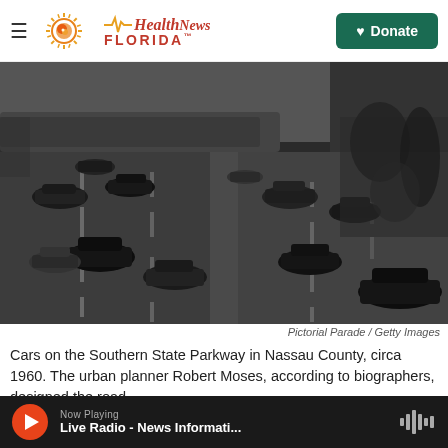Health News FLORIDA - Donate
[Figure (photo): Black and white aerial photograph of cars on the Southern State Parkway in Nassau County, circa 1960. Multiple lanes of vintage automobiles traveling under a bridge overpass, with trees visible on the right side.]
Pictorial Parade / Getty Images
Cars on the Southern State Parkway in Nassau County, circa 1960. The urban planner Robert Moses, according to biographers, designed the road
Now Playing - Live Radio - News Informati...